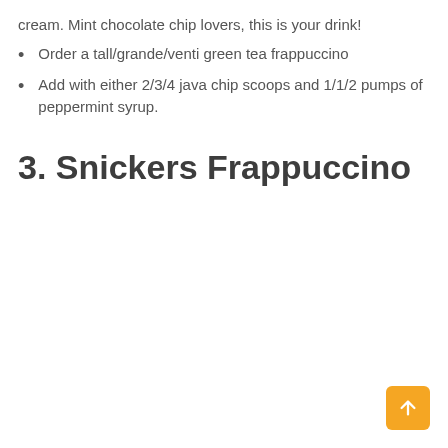cream. Mint chocolate chip lovers, this is your drink!
Order a tall/grande/venti green tea frappuccino
Add with either 2/3/4 java chip scoops and 1/1/2 pumps of peppermint syrup.
3. Snickers Frappuccino